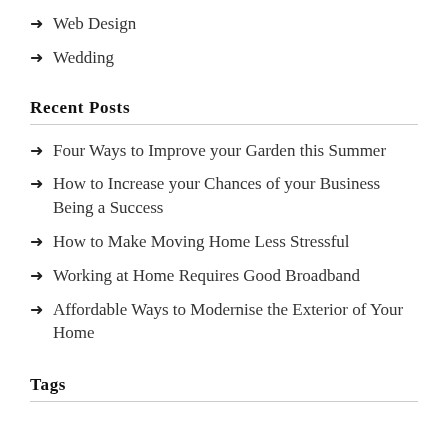Web Design
Wedding
Recent Posts
Four Ways to Improve your Garden this Summer
How to Increase your Chances of your Business Being a Success
How to Make Moving Home Less Stressful
Working at Home Requires Good Broadband
Affordable Ways to Modernise the Exterior of Your Home
Tags